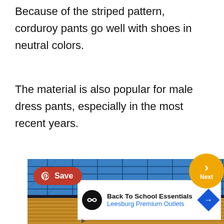Because of the striped pattern, corduroy pants go well with shoes in neutral colors.
The material is also popular for male dress pants, especially in the most recent years.
[Figure (photo): Stacked folded fabrics: a blue plaid/checked fabric on top and yellow/golden corduroy fabric below, with a Pinterest Save button and a Next navigation button overlaid.]
[Figure (other): Advertisement for Back To School Essentials at Leesburg Premium Outlets with logo icon and directional arrow sign.]